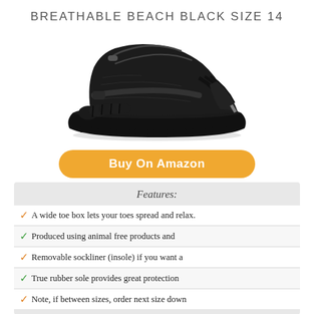BREATHABLE BEACH BLACK SIZE 14
[Figure (photo): Black minimalist/barefoot water shoe with wide toe box, bungee laces, and rubber sole viewed from a three-quarter front angle.]
Buy On Amazon
Features:
A wide toe box lets your toes spread and relax.
Produced using animal free products and
Removable sockliner (insole) if you want a
True rubber sole provides great protection
Note, if between sizes, order next size down